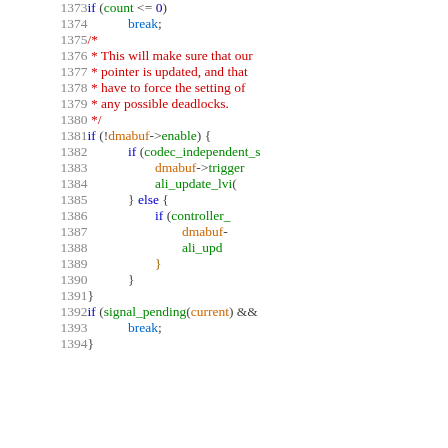[Figure (screenshot): Source code listing showing lines 1373-1394 of a C source file with syntax highlighting. Line numbers in gray on left, code with colored keywords, comments, and identifiers on right.]